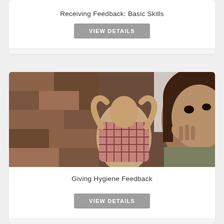Receiving Feedback: Basic Skills
VIEW DETAILS
[Figure (photo): Two people in an office setting — a man leaning back with hands behind head wearing a plaid shirt, and a woman in the foreground with her hand near her face looking thoughtful]
Giving Hygiene Feedback
VIEW DETAILS